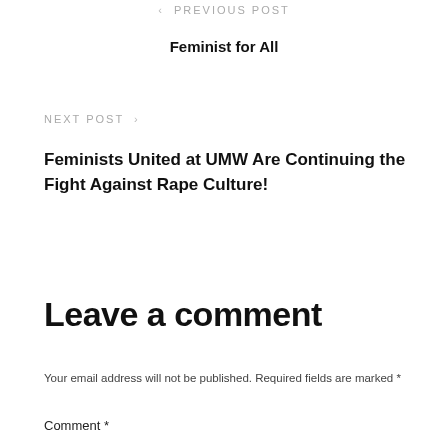< PREVIOUS POST
Feminist for All
NEXT POST >
Feminists United at UMW Are Continuing the Fight Against Rape Culture!
Leave a comment
Your email address will not be published. Required fields are marked *
Comment *